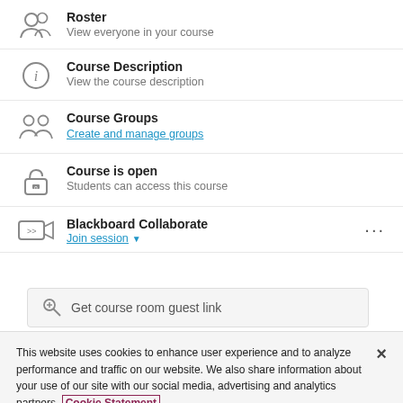Roster
View everyone in your course
Course Description
View the course description
Course Groups
Create and manage groups
Course is open
Students can access this course
Blackboard Collaborate
Join session
[Figure (screenshot): Get course room guest link sub-menu item with link icon]
This website uses cookies to enhance user experience and to analyze performance and traffic on our website. We also share information about your use of our site with our social media, advertising and analytics partners. Cookie Statement
Accept Cookies
Do Not Sell My Personal Information